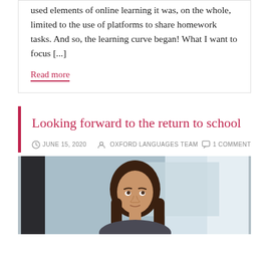used elements of online learning it was, on the whole, limited to the use of platforms to share homework tasks. And so, the learning curve began! What I want to focus [...]
Read more
Looking forward to the return to school
JUNE 15, 2020   OXFORD LANGUAGES TEAM   1 COMMENT
[Figure (photo): A woman with long dark hair looking upward, photographed in an indoor setting with a light blue/grey background, likely a classroom or office environment.]